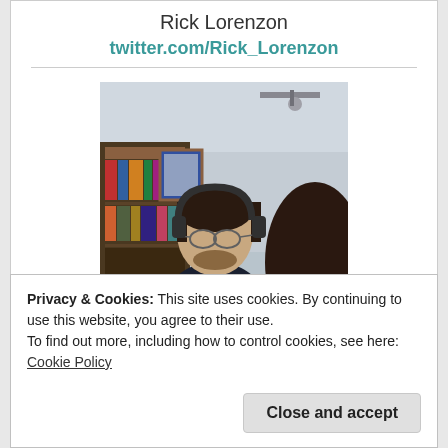Rick Lorenzon
twitter.com/Rick_Lorenzon
[Figure (photo): Photo of a young man with glasses and headphones, dark hair and beard, seated in front of a bookshelf, with a large round object (possibly a microphone or hat) partially visible on the right]
Privacy & Cookies: This site uses cookies. By continuing to use this website, you agree to their use.
To find out more, including how to control cookies, see here: Cookie Policy
Close and accept